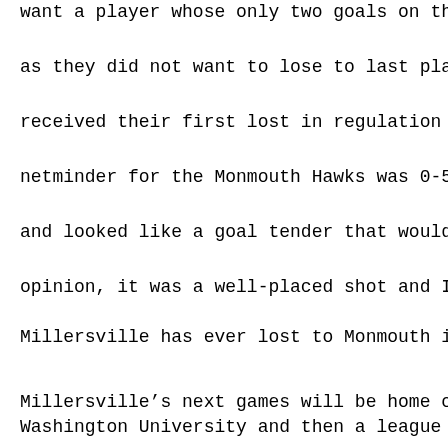want a player whose only two goals on the season came in that
as they did not want to lose to last place Monmouth and get ha
received their first lost in regulation in the league. This also mar
netminder for the Monmouth Hawks was 0-5 going into that ga
and looked like a goal tender that would have a winning record.
opinion, it was a well-placed shot and I do not think Hayden was
Millersville has ever lost to Monmouth in over ten years. Millersvil
Millersville’s next games will be home ones as it will be Military
Washington University and then a league game against NJIT. I th